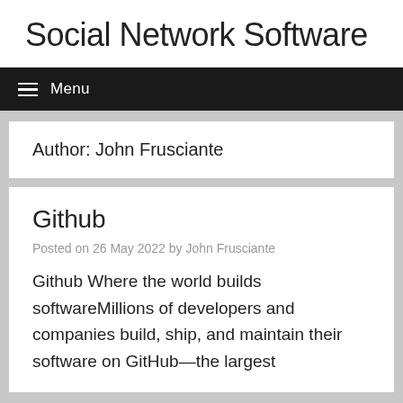Social Network Software
Menu
Author: John Frusciante
Github
Posted on 26 May 2022 by John Frusciante
Github Where the world builds softwareMillions of developers and companies build, ship, and maintain their software on GitHub—the largest